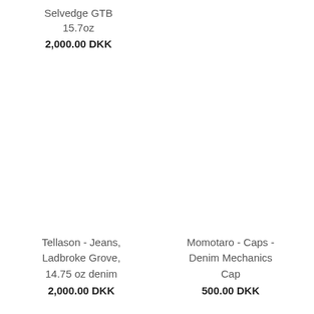Selvedge GTB
15.7oz
2,000.00 DKK
Tellason - Jeans, Ladbroke Grove, 14.75 oz denim
2,000.00 DKK
Momotaro - Caps - Denim Mechanics Cap
500.00 DKK